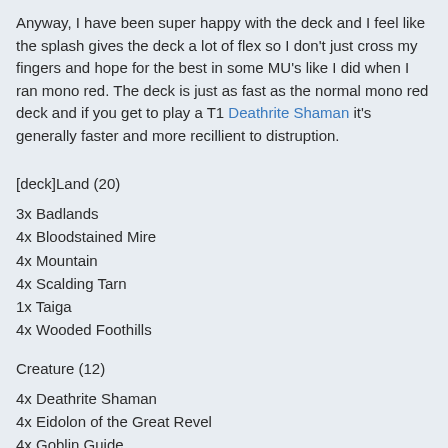Anyway, I have been super happy with the deck and I feel like the splash gives the deck a lot of flex so I don't just cross my fingers and hope for the best in some MU's like I did when I ran mono red. The deck is just as fast as the normal mono red deck and if you get to play a T1 Deathrite Shaman it's generally faster and more recillient to distruption.
[deck]Land (20)
3x Badlands
4x Bloodstained Mire
4x Mountain
4x Scalding Tarn
1x Taiga
4x Wooded Foothills
Creature (12)
4x Deathrite Shaman
4x Eidolon of the Great Revel
4x Goblin Guide
Sorcery (16)
4x Chain Lightning